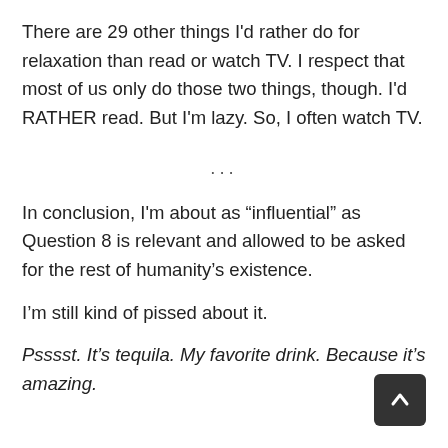There are 29 other things I'd rather do for relaxation than read or watch TV. I respect that most of us only do those two things, though. I'd RATHER read. But I'm lazy. So, I often watch TV.
...
In conclusion, I'm about as “influential” as Question 8 is relevant and allowed to be asked for the rest of humanity’s existence.
I’m still kind of pissed about it.
Psssst. It’s tequila. My favorite drink. Because it’s amazing.